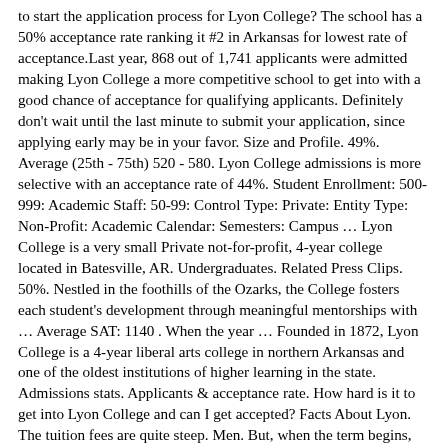to start the application process for Lyon College? The school has a 50% acceptance rate ranking it #2 in Arkansas for lowest rate of acceptance.Last year, 868 out of 1,741 applicants were admitted making Lyon College a more competitive school to get into with a good chance of acceptance for qualifying applicants. Definitely don't wait until the last minute to submit your application, since applying early may be in your favor. Size and Profile. 49%. Average (25th - 75th) 520 - 580. Lyon College admissions is more selective with an acceptance rate of 44%. Student Enrollment: 500-999: Academic Staff: 50-99: Control Type: Private: Entity Type: Non-Profit: Academic Calendar: Semesters: Campus … Lyon College is a very small Private not-for-profit, 4-year college located in Batesville, AR. Undergraduates. Related Press Clips. 50%. Nestled in the foothills of the Ozarks, the College fosters each student's development through meaningful mentorships with … Average SAT: 1140 . When the year … Founded in 1872, Lyon College is a 4-year liberal arts college in northern Arkansas and one of the oldest institutions of higher learning in the state. Admissions stats. Applicants & acceptance rate. How hard is it to get into Lyon College and can I get accepted? Facts About Lyon. The tuition fees are quite steep. Men. But, when the term begins, only about 170 or 16 percent of the applicants will have picked Lyon College as their school of choice. Students Submitting SAT. The University of Colorado Boulder ranks among the top essay universities and is one of the top colleges in Colorado and top